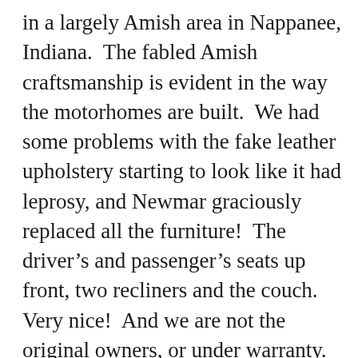in a largely Amish area in Nappanee, Indiana.  The fabled Amish craftsmanship is evident in the way the motorhomes are built.  We had some problems with the fake leather upholstery starting to look like it had leprosy, and Newmar graciously replaced all the furniture!  The driver’s and passenger’s seats up front, two recliners and the couch.  Very nice!  And we are not the original owners, or under warranty.  A great company.  They also replaced my cracked windshield and repaired a ding I’d put on one side.